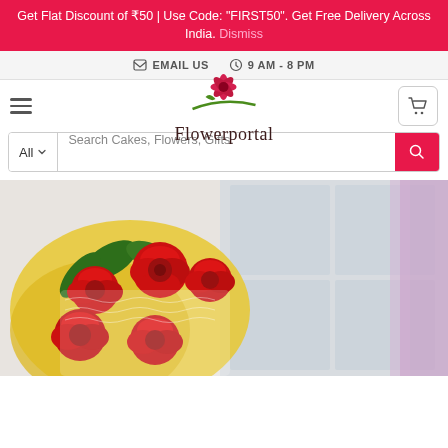Get Flat Discount of ₹50 | Use Code: "FIRST50". Get Free Delivery Across India. Dismiss
EMAIL US   9 AM - 8 PM
[Figure (logo): Flowerportal logo with red flower and green swoosh, text reads Flowerportal]
[Figure (photo): Bouquet of red roses wrapped in yellow paper, photographed indoors near a window with blurred background]